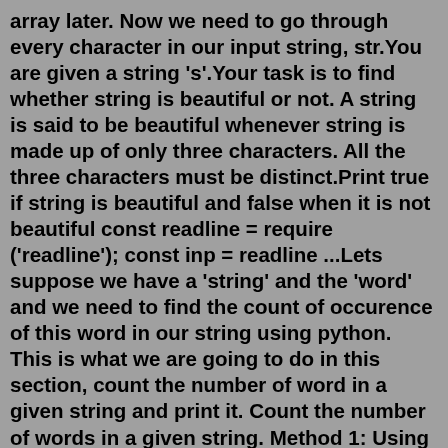array later. Now we need to go through every character in our input string, str.You are given a string 's'.Your task is to find whether string is beautiful or not. A string is said to be beautiful whenever string is made up of only three characters. All the three characters must be distinct.Print true if string is beautiful and false when it is not beautiful const readline = require ('readline'); const inp = readline ...Lets suppose we have a 'string' and the 'word' and we need to find the count of occurence of this word in our string using python. This is what we are going to do in this section, count the number of word in a given string and print it. Count the number of words in a given string. Method 1: Using for loop. #Method 1: Using for loopAlgorithm to find out the frequency of a character in C++ using map. Declare a map of char to int where key values are the characters of the string and mapped values are its frequencies. Read the characters from first to last in the string and increment the value in the map while